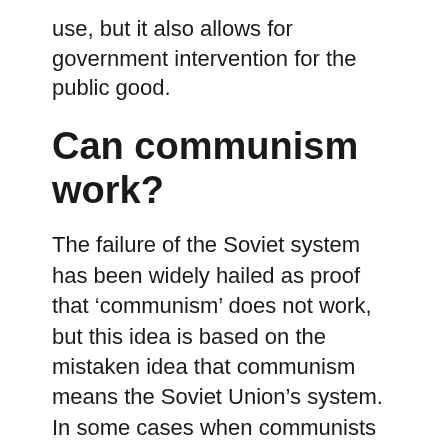use, but it also allows for government intervention for the public good.
Can communism work?
The failure of the Soviet system has been widely hailed as proof that ‘communism’ does not work, but this idea is based on the mistaken idea that communism means the Soviet Union’s system. In some cases when communists have gained power, economic and social outcomes have been relatively positive.
Is China going to overtake the US?